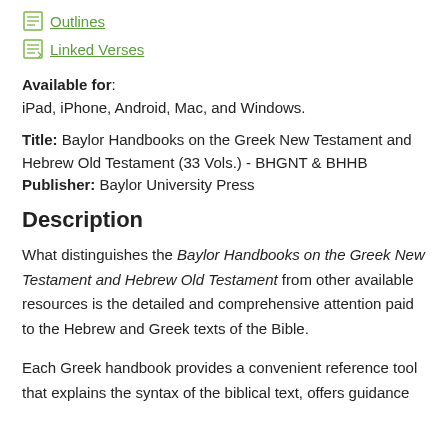Outlines
Linked Verses
Available for: iPad, iPhone, Android, Mac, and Windows.
Title: Baylor Handbooks on the Greek New Testament and Hebrew Old Testament (33 Vols.) - BHGNT & BHHB
Publisher: Baylor University Press
Description
What distinguishes the Baylor Handbooks on the Greek New Testament and Hebrew Old Testament from other available resources is the detailed and comprehensive attention paid to the Hebrew and Greek texts of the Bible.
Each Greek handbook provides a convenient reference tool that explains the syntax of the biblical text, offers guidance